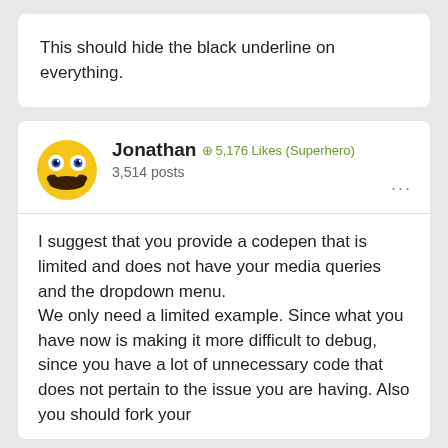This should hide the black underline on everything.
Jonathan  5,176 Likes (Superhero)  3,514 posts
I suggest that you provide a codepen that is limited and does not have your media queries and the dropdown menu.
We only need a limited example. Since what you have now is making it more difficult to debug, since you have a lot of unnecessary code that does not pertain to the issue you are having. Also you should fork your